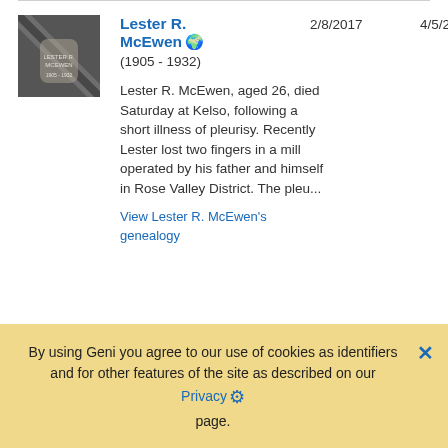[Figure (photo): Gravestone photo thumbnail with diagonal stripe overlay, dark/black and white image]
Lester R. McEwen (1905 - 1932)
2/8/2017
4/5/2020
Lester R. McEwen, aged 26, died Saturday at Kelso, following a short illness of pleurisy. Recently Lester lost two fingers in a mill operated by his father and himself in Rose Valley District. The pleu...
View Lester R. McEwen's genealogy
By using Geni you agree to our use of cookies as identifiers and for other features of the site as described on our Privacy page.